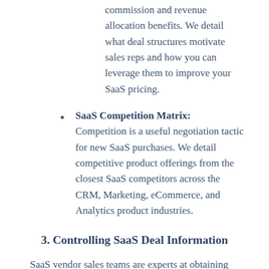commission and revenue allocation benefits. We detail what deal structures motivate sales reps and how you can leverage them to improve your SaaS pricing.
SaaS Competition Matrix: Competition is a useful negotiation tactic for new SaaS purchases. We detail competitive product offerings from the closest SaaS competitors across the CRM, Marketing, eCommerce, and Analytics product industries.
3. Controlling SaaS Deal Information
SaaS vendor sales teams are experts at obtaining information, which eliminates their uncertainty around the deal and destroys buyer leverage. The close